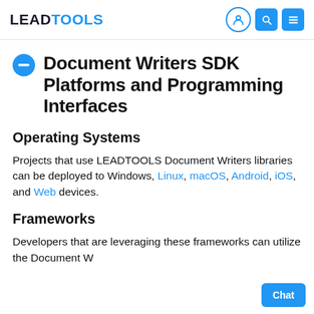LEADTOOLS — Document Writers SDK Platforms and Programming Interfaces
Document Writers SDK Platforms and Programming Interfaces
Operating Systems
Projects that use LEADTOOLS Document Writers libraries can be deployed to Windows, Linux, macOS, Android, iOS, and Web devices.
Frameworks
Developers that are leveraging these frameworks can utilize the Document W…